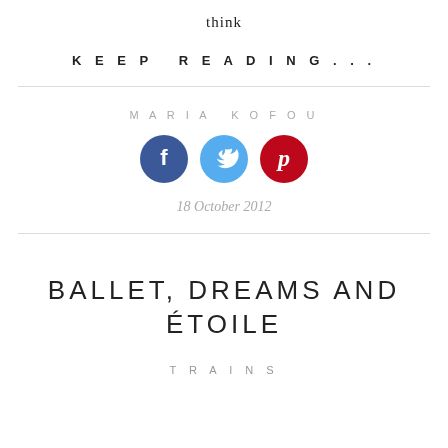think
KEEP READING...
MARIA KOFOU
[Figure (infographic): Three social media icons: Facebook (blue circle with 'f'), Twitter (light blue circle with bird), Pinterest (red circle with 'p')]
18 October 2012
BALLET, DREAMS AND ÉTOILE
TRAINS